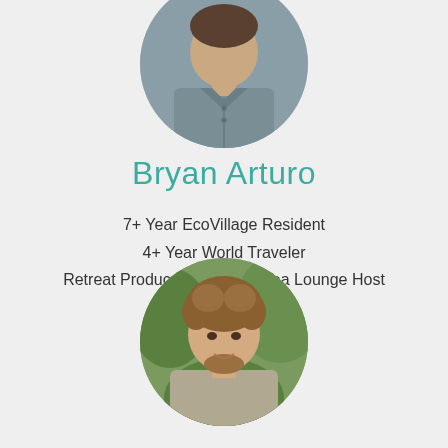[Figure (photo): Circular portrait photo of Bryan Arturo, a man wearing a grey button-up shirt, cropped at top of page]
Bryan Arturo
7+ Year EcoVillage Resident
4+ Year World Traveler
Retreat Producer, Marketer, Tea Lounge Host
[Figure (photo): Circular portrait photo of a smiling young man with wavy brown hair and a beard, outdoors with green foliage background]